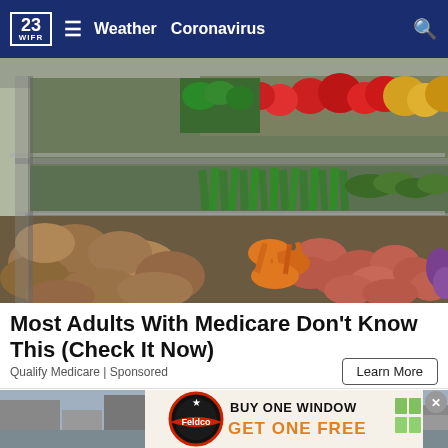23 WIFR — Weather  Coronavirus
[Figure (photo): Grocery store produce aisle with colorful fruits and vegetables displayed on refrigerated shelving — potatoes, carrots, peppers, tomatoes, green vegetables, and tropical fruits arranged on multiple shelf levels.]
Most Adults With Medicare Don't Know This (Check It Now)
Qualify Medicare | Sponsored
Learn More
[Figure (photo): Street scene / advertisement — Feldco window ad: BUY ONE WINDOW GET ONE FREE, with Feldco logo and window graphic on right. Close (X) button in top-right corner.]